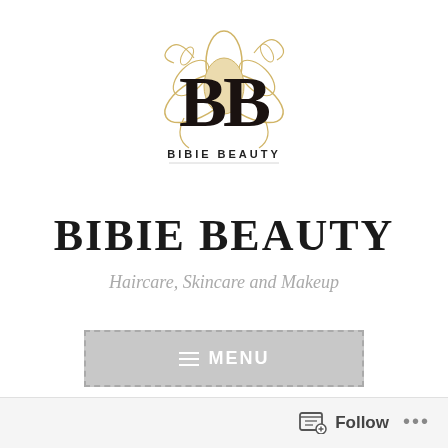[Figure (logo): Bibie Beauty logo with golden floral design and bold BB letters]
BIBIE BEAUTY
Haircare, Skincare and Makeup
[Figure (screenshot): Menu button with hamburger icon and MENU text]
Follow ...